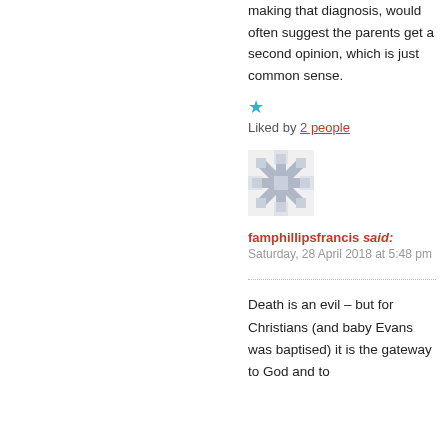making that diagnosis, would often suggest the parents get a second opinion, which is just common sense.
★ Liked by 2 people
[Figure (illustration): Avatar icon — gray geometric snowflake/star pattern]
famphillipsfrancis said: Saturday, 28 April 2018 at 5:48 pm
Death is an evil – but for Christians (and baby Evans was baptised) it is the gateway to God and to